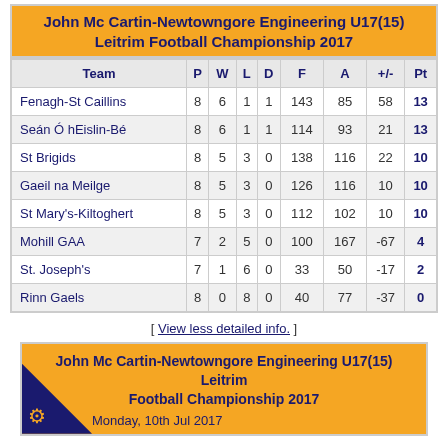John Mc Cartin-Newtowngore Engineering U17(15) Leitrim Football Championship 2017
| Team | P | W | L | D | F | A | +/- | Pt |
| --- | --- | --- | --- | --- | --- | --- | --- | --- |
| Fenagh-St Caillins | 8 | 6 | 1 | 1 | 143 | 85 | 58 | 13 |
| Seán Ó hEislin-Bé | 8 | 6 | 1 | 1 | 114 | 93 | 21 | 13 |
| St Brigids | 8 | 5 | 3 | 0 | 138 | 116 | 22 | 10 |
| Gaeil na Meilge | 8 | 5 | 3 | 0 | 126 | 116 | 10 | 10 |
| St Mary's-Kiltoghert | 8 | 5 | 3 | 0 | 112 | 102 | 10 | 10 |
| Mohill GAA | 7 | 2 | 5 | 0 | 100 | 167 | -67 | 4 |
| St. Joseph's | 7 | 1 | 6 | 0 | 33 | 50 | -17 | 2 |
| Rinn Gaels | 8 | 0 | 8 | 0 | 40 | 77 | -37 | 0 |
[ View less detailed info. ]
John Mc Cartin-Newtowngore Engineering U17(15) Leitrim Football Championship 2017
Monday, 10th Jul 2017